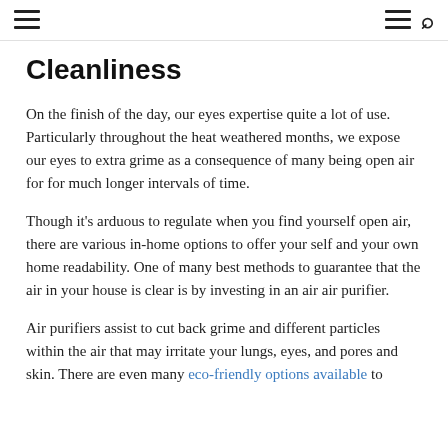[hamburger menu] [hamburger menu] [search icon]
Cleanliness
On the finish of the day, our eyes expertise quite a lot of use. Particularly throughout the heat weathered months, we expose our eyes to extra grime as a consequence of many being open air for for much longer intervals of time.
Though it’s arduous to regulate when you find yourself open air, there are various in-home options to offer your self and your own home readability. One of many best methods to guarantee that the air in your house is clear is by investing in an air air purifier.
Air purifiers assist to cut back grime and different particles within the air that may irritate your lungs, eyes, and pores and skin. There are even many eco-friendly options available to assist in giving you peace of thoughts to gather with your new...